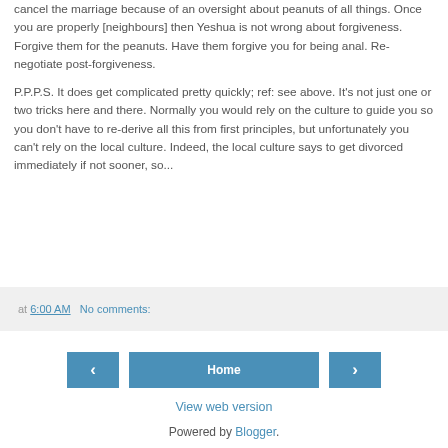cancel the marriage because of an oversight about peanuts of all things. Once you are properly [neighbours] then Yeshua is not wrong about forgiveness. Forgive them for the peanuts. Have them forgive you for being anal. Re-negotiate post-forgiveness.
P.P.P.S. It does get complicated pretty quickly; ref: see above. It's not just one or two tricks here and there. Normally you would rely on the culture to guide you so you don't have to re-derive all this from first principles, but unfortunately you can't rely on the local culture. Indeed, the local culture says to get divorced immediately if not sooner, so...
at 6:00 AM   No comments:
Home
View web version
Powered by Blogger.